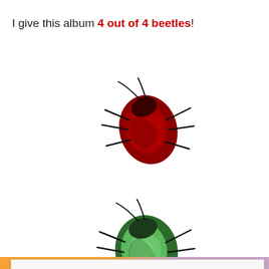I give this album 4 out of 4 beetles!
[Figure (illustration): Red/dark beetle illustration facing upper-left]
[Figure (illustration): Green/dark beetle illustration facing upper-left]
[Figure (illustration): Partial black beetle illustration (cut off by cookie banner)]
Privacy & Cookies: This site uses cookies. By continuing to use this website, you agree to their use.
To find out more, including how to control cookies, see here: Cookie Policy
Close and accept